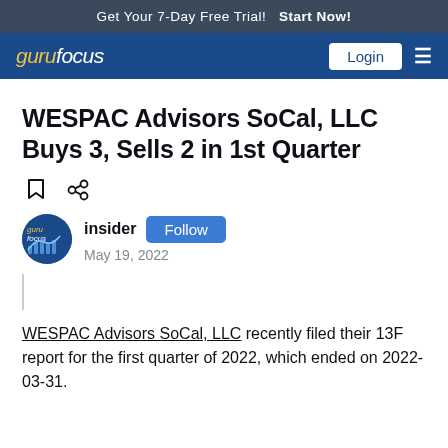Get Your 7-Day Free Trial!  Start Now!
gurufocus  Login
WESPAC Advisors SoCal, LLC Buys 3, Sells 2 in 1st Quarter
insider  Follow
May 19, 2022
WESPAC Advisors SoCal, LLC recently filed their 13F report for the first quarter of 2022, which ended on 2022-03-31.